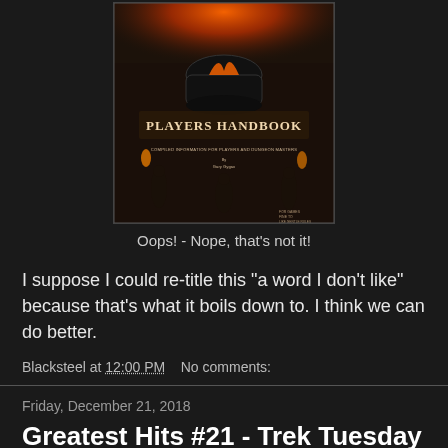[Figure (illustration): Cover of D&D Players Handbook book showing fantasy dungeon scene with fire and figures, title text reads PLAYERS HANDBOOK with subtitle COMPILED INFORMATION FOR PLAYERS AND DUNGEON MASTERS by Gary Gygax]
Oops! - Nope, that's not it!
I suppose I could re-title this "a word I don't like" because that's what it boils down to. I think we can do better.
Blacksteel at 12:00 PM   No comments:
Friday, December 21, 2018
Greatest Hits #21 - Trek Tuesday - Decipher Trek